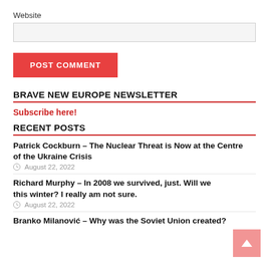Website
POST COMMENT
BRAVE NEW EUROPE NEWSLETTER
Subscribe here!
RECENT POSTS
Patrick Cockburn – The Nuclear Threat is Now at the Centre of the Ukraine Crisis
August 22, 2022
Richard Murphy – In 2008 we survived, just. Will we this winter? I really am not sure.
August 22, 2022
Branko Milanović – Why was the Soviet Union created?